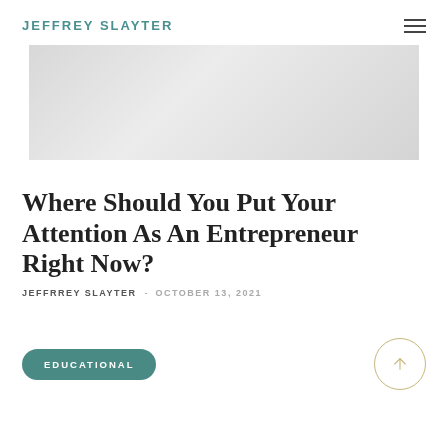JEFFREY SLAYTER
[Figure (photo): Hero image with light gray background showing a faint figure or background texture]
Where Should You Put Your Attention As An Entrepreneur Right Now?
JEFFREY SLAYTER  -  OCTOBER 13, 2021
EDUCATIONAL